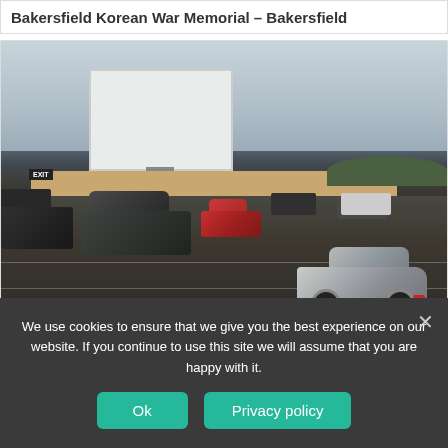Bakersfield Korean War Memorial – Bakersfield
[Figure (photo): Drive-in theatre parking lot with a large white movie screen in the background, multiple cars parked, overcast sky, EXIT sign visible, trees in distance]
South Bay Drive-In Theatre and Swap Meet –
We use cookies to ensure that we give you the best experience on our website. If you continue to use this site we will assume that you are happy with it.
Ok
Privacy policy